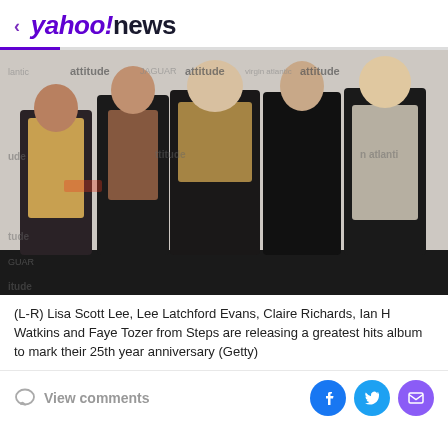< yahoo!news
[Figure (photo): Group photo of five people (L-R: Lisa Scott Lee, Lee Latchford Evans, Claire Richards, Ian H Watkins, Faye Tozer) from Steps, posing in front of an Attitude Magazine/Jaguar/Virgin Atlantic branded step-and-repeat backdrop.]
(L-R) Lisa Scott Lee, Lee Latchford Evans, Claire Richards, Ian H Watkins and Faye Tozer from Steps are releasing a greatest hits album to mark their 25th year anniversary (Getty)
View comments